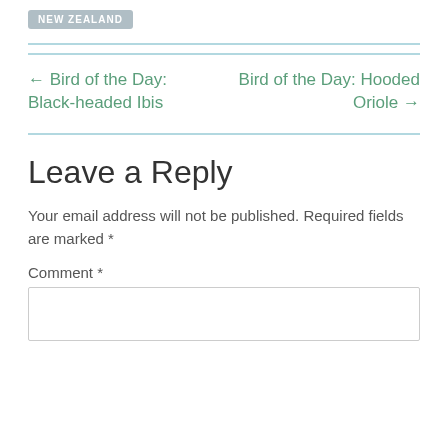NEW ZEALAND
← Bird of the Day: Black-headed Ibis
Bird of the Day: Hooded Oriole →
Leave a Reply
Your email address will not be published. Required fields are marked *
Comment *